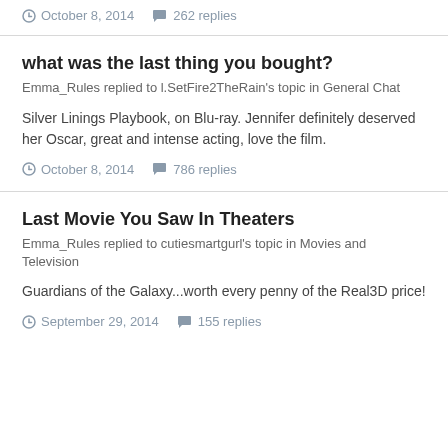October 8, 2014   262 replies
what was the last thing you bought?
Emma_Rules replied to l.SetFire2TheRain's topic in General Chat
Silver Linings Playbook, on Blu-ray. Jennifer definitely deserved her Oscar, great and intense acting, love the film.
October 8, 2014   786 replies
Last Movie You Saw In Theaters
Emma_Rules replied to cutiesmartgurl's topic in Movies and Television
Guardians of the Galaxy...worth every penny of the Real3D price!
September 29, 2014   155 replies